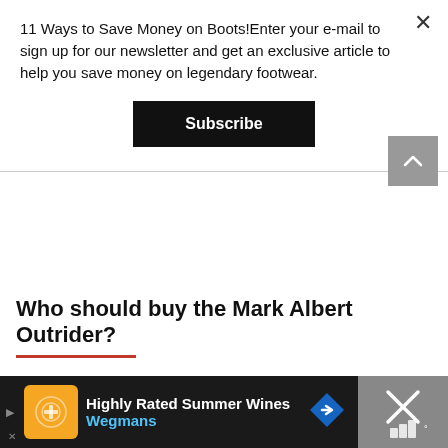11 Ways to Save Money on Boots!Enter your e-mail to sign up for our newsletter and get an exclusive article to help you save money on legendary footwear.
Subscribe
Who should buy the Mark Albert Outrider?
[Figure (screenshot): Advertisement banner at the bottom: 'Highly Rated Summer Wines - Wegmans' on dark background with orange logo and blue diamond icon.]